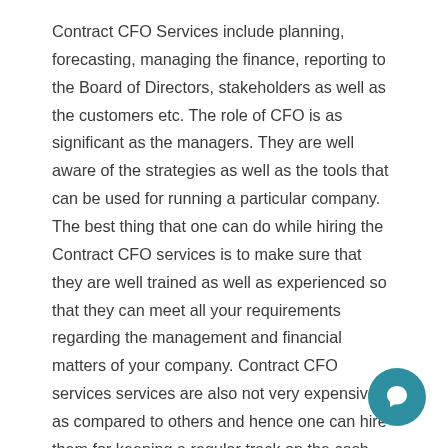Contract CFO Services include planning, forecasting, managing the finance, reporting to the Board of Directors, stakeholders as well as the customers etc. The role of CFO is as significant as the managers. They are well aware of the strategies as well as the tools that can be used for running a particular company. The best thing that one can do while hiring the Contract CFO services is to make sure that they are well trained as well as experienced so that they can meet all your requirements regarding the management and financial matters of your company. Contract CFO services services are also not very expensive as compared to others and hence one can hire them for keeping a regular track on the cash flow of their company.